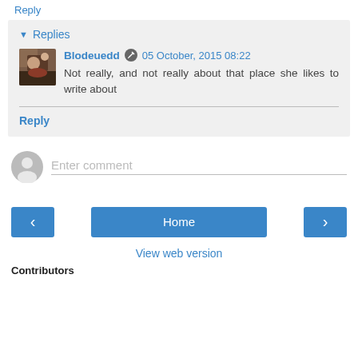Reply
▾ Replies
[Figure (photo): Small avatar photo of commenter Blodeuedd]
Blodeuedd  05 October, 2015 08:22
Not really, and not really about that place she likes to write about
Reply
Enter comment
Home
View web version
Contributors